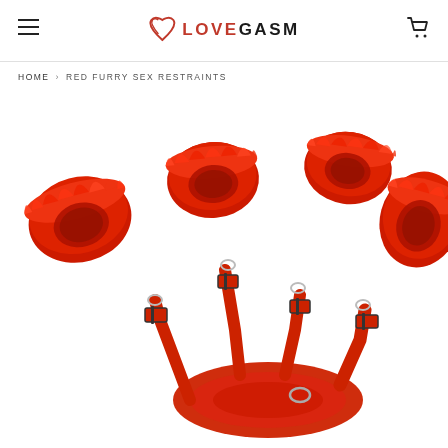LOVEGASM
HOME › RED FURRY SEX RESTRAINTS
[Figure (photo): Red furry sex restraints product photo showing four red plush-lined cuffs (two wrist and two ankle cuffs) connected by red nylon straps with metal buckles and D-rings, arranged on a white background.]